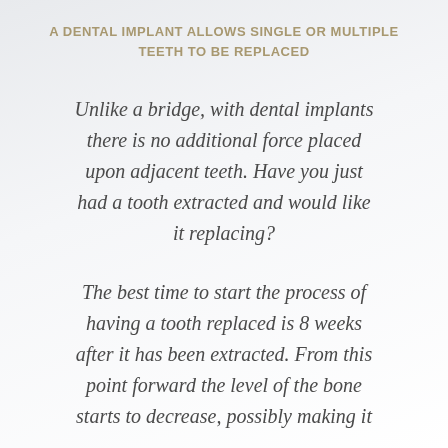A DENTAL IMPLANT ALLOWS SINGLE OR MULTIPLE TEETH TO BE REPLACED
Unlike a bridge, with dental implants there is no additional force placed upon adjacent teeth. Have you just had a tooth extracted and would like it replacing?
The best time to start the process of having a tooth replaced is 8 weeks after it has been extracted. From this point forward the level of the bone starts to decrease, possibly making it